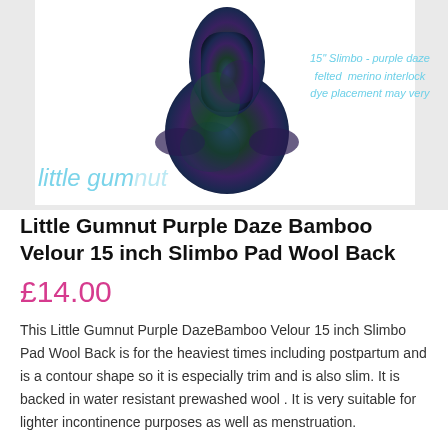[Figure (photo): Product photo of a dark purple-green felted merino interlock 15 inch Slimbo pad on a white background. Overlaid text reads '15" Slimbo - purple daze felted merino interlock dye placement may very' in light blue. Brand name 'little gumnut' appears in light blue italic text on the lower left.]
Little Gumnut Purple Daze Bamboo Velour 15 inch Slimbo Pad Wool Back
£14.00
This Little Gumnut Purple DazeBamboo Velour 15 inch Slimbo Pad Wool Back is for the heaviest times including postpartum and is a contour shape so it is especially trim and is also slim. It is backed in water resistant prewashed wool . It is very suitable for lighter incontinence purposes as well as menstruation.